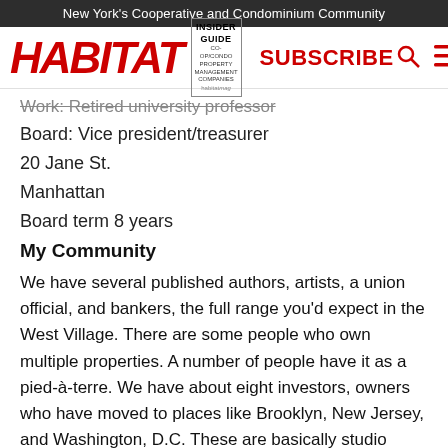New York's Cooperative and Condominium Community
[Figure (logo): Habitat magazine logo with Insider Guide badge, Subscribe button, search and menu icons]
Work: Retired university professor
Board: Vice president/treasurer
20 Jane St.
Manhattan
Board term 8 years
My Community
We have several published authors, artists, a union official, and bankers, the full range you'd expect in the West Village. There are some people who own multiple properties. A number of people have it as a pied-à-terre. We have about eight investors, owners who have moved to places like Brooklyn, New Jersey, and Washington, D.C. These are basically studio apartments, so you have to be tolerant of sublets. This is not where you end up. But we're looking closely at investors who have held on for 20 years. By Fannie Mae rules, we